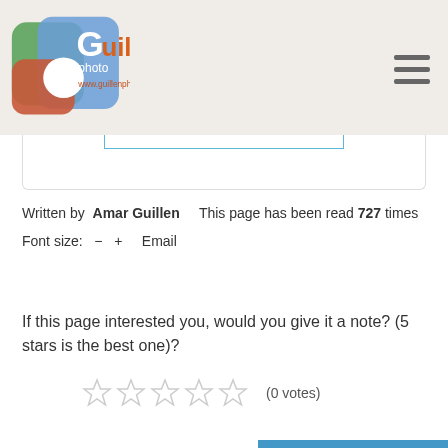Guillen photo www.guillenphoto.com
[Figure (logo): Guillen Photo logo with colorful camera icon and orange/blue text reading 'Guillen photo www.guillenphoto.com']
Written by Amar Guillen    This page has been read 727 times
Font size:  −  +   Email
If this page interested you, would you give it a note? (5 stars is the best one)?
☆ ☆ ☆ ☆ ☆  (0 votes)
Previous Article: Wildlife
I Want to Help You to Choose a Fine Art Print